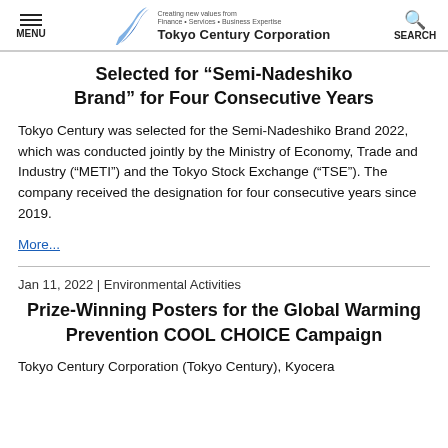MENU | Tokyo Century Corporation | SEARCH
Selected for “Semi-Nadeshiko Brand” for Four Consecutive Years
Tokyo Century was selected for the Semi-Nadeshiko Brand 2022, which was conducted jointly by the Ministry of Economy, Trade and Industry (“METI”) and the Tokyo Stock Exchange (“TSE”). The company received the designation for four consecutive years since 2019.
More...
Jan 11, 2022 | Environmental Activities
Prize-Winning Posters for the Global Warming Prevention COOL CHOICE Campaign
Tokyo Century Corporation (Tokyo Century), Kyocera